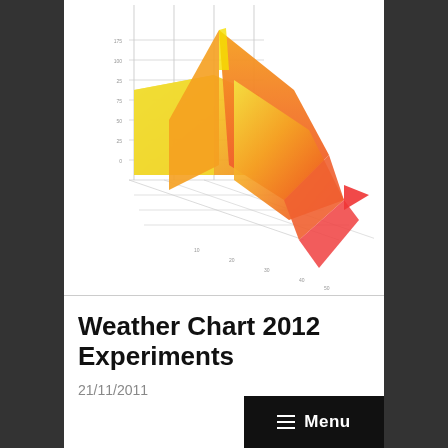[Figure (other): 3D surface/area chart showing weather data with yellow-to-orange-to-red color gradient. The chart has a perspective 3D view with grid lines, axis ticks, and dramatic peaks and valleys in the surface, colored from yellow (lower values) through orange to red (higher values).]
Weather Chart 2012 Experiments
21/11/2011